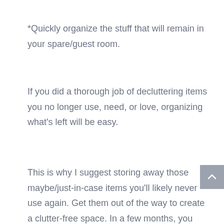*Quickly organize the stuff that will remain in your spare/guest room.
If you did a thorough job of decluttering items you no longer use, need, or love, organizing what’s left will be easy.
This is why I suggest storing away those maybe/just-in-case items you’ll likely never use again. Get them out of the way to create a clutter-free space. In a few months, you may be ready to let go of those